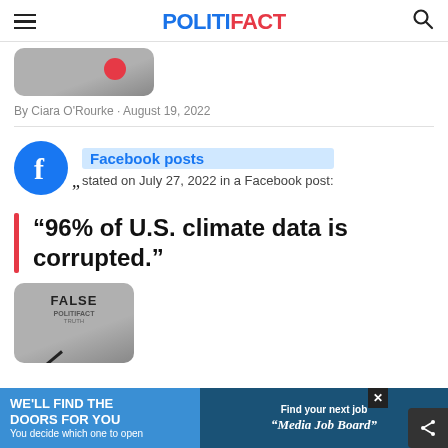POLITIFACT
[Figure (screenshot): Partial image of a PolitiFact article thumbnail at top, showing a rounded gray rectangle with a red dot.]
By Ciara O'Rourke · August 19, 2022
[Figure (infographic): Facebook logo (blue circle with white f) with quote mark icon, source label 'Facebook posts', and text 'stated on July 27, 2022 in a Facebook post:']
Facebook posts stated on July 27, 2022 in a Facebook post:
‘96% of U.S. climate data is corrupted.”
[Figure (infographic): PolitiFact FALSE meter image showing a gauge with needle pointed to FALSE, with 'POLITIFACT' label and 'TRUTH-O-METER' text at the bottom.]
[Figure (infographic): Advertisement banner: 'WE'LL FIND THE DOORS FOR YOU - You decide which one to open' on left (blue background), 'Find your next job - Media Job Board' on right (dark blue).]